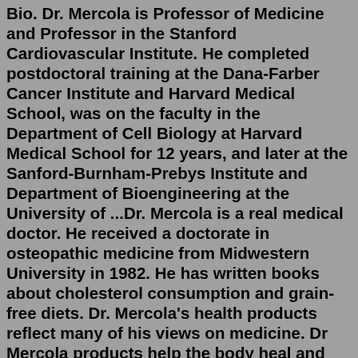Bio. Dr. Mercola is Professor of Medicine and Professor in the Stanford Cardiovascular Institute. He completed postdoctoral training at the Dana-Farber Cancer Institute and Harvard Medical School, was on the faculty in the Department of Cell Biology at Harvard Medical School for 12 years, and later at the Sanford-Burnham-Prebys Institute and Department of Bioengineering at the University of ...Dr. Mercola is a real medical doctor. He received a doctorate in osteopathic medicine from Midwestern University in 1982. He has written books about cholesterol consumption and grain-free diets. Dr. Mercola's health products reflect many of his views on medicine. Dr Mercola products help the body heal and detoxify.Apr 29, 2021 · Dr. Mercola, Ubiquinol Dietary Supplement, 100 mg, 90 Servings (90 Capsules), Non GMO, Supports Overall Health and Wellness, Soy Free, Gluten Free 90 Count (Pack of 1) 4.8 out of 5 stars 311 Dr. Mercola. Dr. Mercola wants to transform the traditional medical paradigm in the United States and around the world, offering